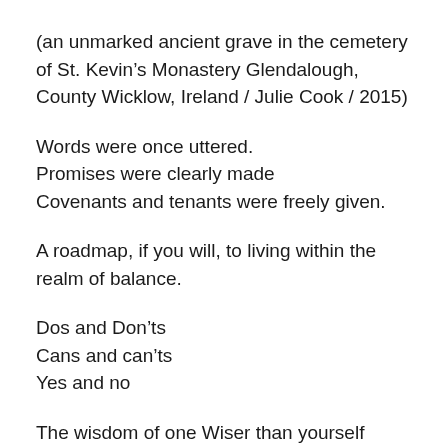(an unmarked ancient grave in the cemetery of St. Kevin’s Monastery Glendalough, County Wicklow, Ireland / Julie Cook / 2015)
Words were once uttered.
Promises were clearly made
Covenants and tenants were freely given.
A roadmap, if you will, to living within the realm of balance.
Dos and Don’ts
Cans and can’ts
Yes and no
The wisdom of one Wiser than yourself issued a decree.
Ancient words now reduced to dust
Mumbo jumbo and poppycock